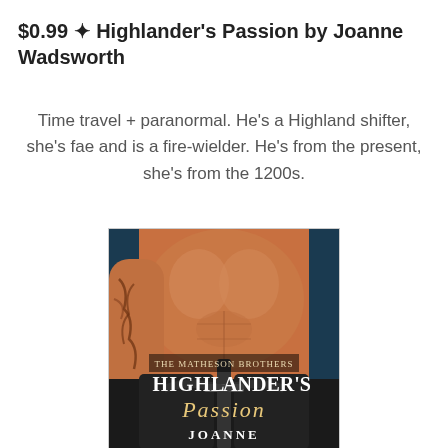$0.99 ✦ Highlander's Passion by Joanne Wadsworth
Time travel + paranormal. He's a Highland shifter, she's fae and is a fire-wielder. He's from the present, she's from the 1200s.
[Figure (photo): Book cover of 'Highlander's Passion' by Joanne Wadsworth (The Matheson Brothers series). Shows a muscular, tattooed shirtless man holding a sword. The cover title reads 'Highlander's Passion' in large stylized font with 'The Matheson Brothers' above it and 'Joanne' below.]